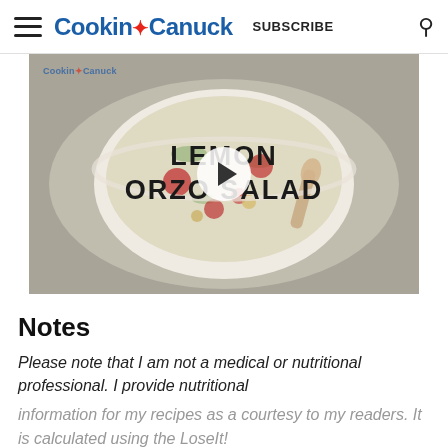Cookin Canuck SUBSCRIBE
[Figure (photo): Video thumbnail showing a bowl of Lemon Orzo Salad with a play button overlay and text 'LEMON ORZO SALAD'. Watermark reads 'Cookin Canuck' in top-left corner.]
Notes
Please note that I am not a medical or nutritional professional. I provide nutritional information for my recipes as a courtesy to my readers. It is calculated using the LoseIt!